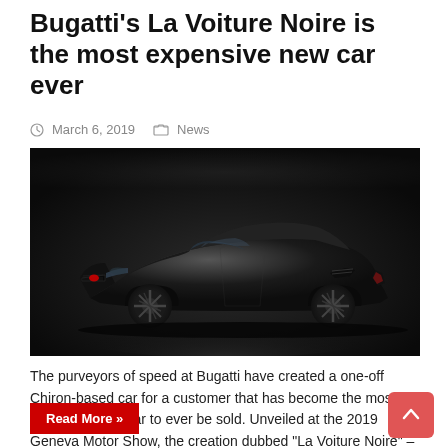Bugatti's La Voiture Noire is the most expensive new car ever
March 6, 2019   News
[Figure (photo): Side profile photo of the Bugatti La Voiture Noire, a sleek all-black supercar on a dark background]
The purveyors of speed at Bugatti have created a one-off Chiron-based car for a customer that has become the most expensive new car to ever be sold. Unveiled at the 2019 Geneva Motor Show, the creation dubbed “La Voiture Noire” – which translates literally as “the black car” – was …
Read More »